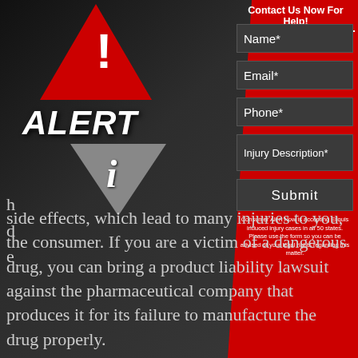[Figure (illustration): Alert graphic on dark background: red warning triangle with exclamation mark, 'ALERT' text in white bold italic, and a downward-pointing grey triangle with italic 'i' info icon]
Contact Us Now For Help!
Name*
Email*
Phone*
Injury Description*
Submit
Consumer Alert Now is accepting Eliquis induced injury cases in all 50 states. Please use the form so you can be advised of your legal rights regarding this matter.
side effects, which lead to many injuries to you, the consumer. If you are a victim of a dangerous drug, you can bring a product liability lawsuit against the pharmaceutical company that produces it for its failure to manufacture the drug properly.